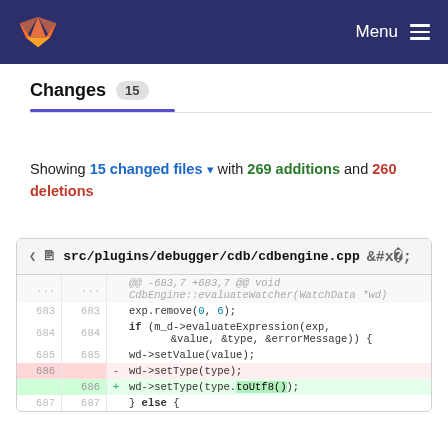GitLab — Menu
Changes 15
Showing 15 changed files with 269 additions and 260 deletions
| old | new | sign | code |
| --- | --- | --- | --- |
| ... | ... |  | @@ -683,7 +683,7 @@ void CdbEngine::evaluateWatcher(WatchData *wd) |
| 683 | 683 |  |         exp.remove(0, 6); |
| 684 | 684 |  |         if (m_d->evaluateExpression(exp, &value, &type, &errorMessage)) { |
| 685 | 685 |  |             wd->setValue(value); |
| 686 |  | - |             wd->setType(type); |
|  | 686 | + |             wd->setType(type.toUtf8()); |
| 687 | 687 |  |         } else { |